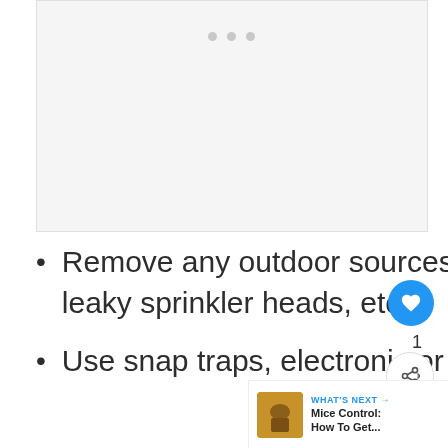[Figure (photo): Light gray placeholder image area with three dots at the top center indicating an image carousel or loading state]
Remove any outdoor sources of water, including birdbaths, leaky sprinkler heads, etc.
Use snap traps, electronic or a mixture of bait and poison in